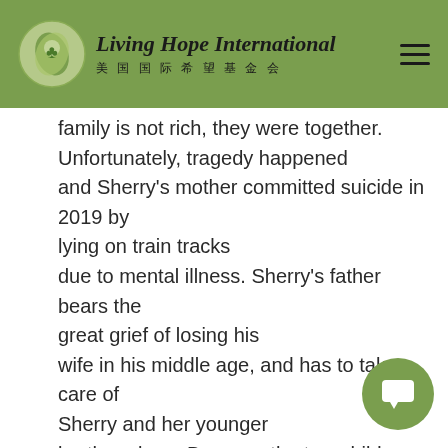Living Hope International 美国国际希望基金会
family is not rich, they were together. Unfortunately, tragedy happened and Sherry's mother committed suicide in 2019 by lying on train tracks due to mental illness. Sherry's father bears the great grief of losing his wife in his middle age, and has to take care of Sherry and her younger brother alone. Because the two children are still young, Sherry's father cannot go out to work to earn a higher salary. He can only get a very low income by repairing battery bicycles in the small village. He cannot provide the children with normal daily needs. School supplies